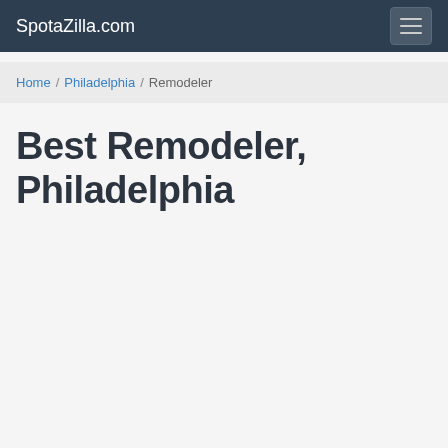SpotaZilla.com
Home / Philadelphia / Remodeler
Best Remodeler, Philadelphia